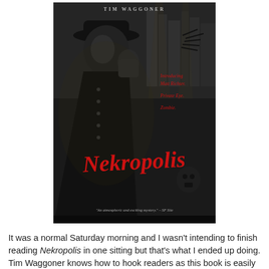[Figure (illustration): Book cover of 'Nekropolis' by Tim Waggoner. Dark atmospheric noir scene with a man in a fedora hat and dark coat in the foreground, city skyline visible behind. Red stylized title 'Nekropolis' at bottom. Red italic text reading 'Introducing Matt Richter. Private Eye. Zombie.' Quote at bottom: 'An atmospheric and exciting mystery.' – SF Site]
It was a normal Saturday morning and I wasn't intending to finish reading Nekropolis in one sitting but that's what I ended up doing. Tim Waggoner knows how to hook readers as this book is easily a guilty pleasure that's a mix between